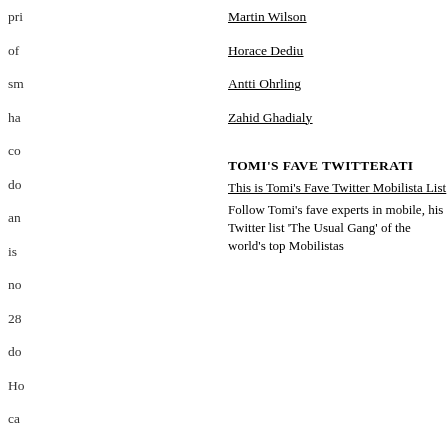pri
Martin Wilson
of
Horace Dediu
sm
Antti Ohrling
ha
Zahid Ghadialy
co
TOMI'S FAVE TWITTERATI
do
This is Tomi's Fave Twitter Mobilista List
an
Follow Tomi's fave experts in mobile, his Twitter list 'The Usual Gang' of the world's top Mobilistas
is
no
28
do
Ho
ca
the
av
pri
of